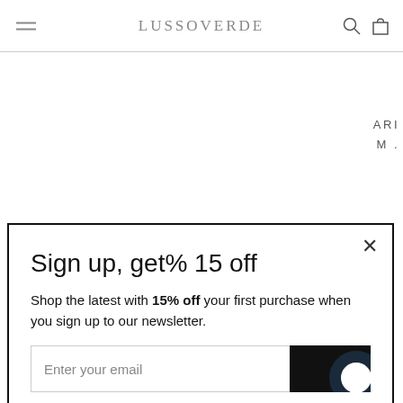LussoVerde
ARI M.
Sign up, get% 15 off
Shop the latest with 15% off your first purchase when you sign up to our newsletter.
Enter your email